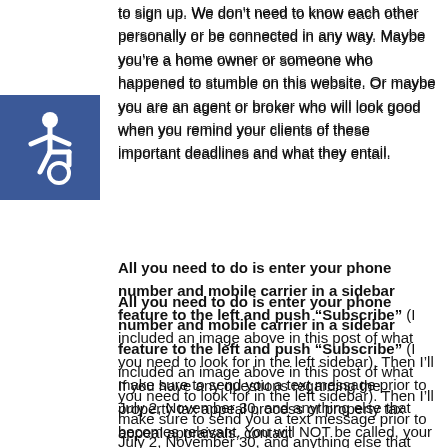to sign up. We don't need to know each other personally or be connected in any way. Maybe you're a home owner or someone who happened to stumble on this website. Or maybe you are an agent or broker who will look good when you remind your clients of these important deadlines and what they entail.
[Figure (illustration): Blue square with white wheelchair accessibility icon (person in wheelchair symbol)]
All you need to do is enter your phone number and mobile carrier in a sidebar feature to the left and push "Subscribe" (I included an image above in this post of what you need to look for in the left sidebar). Then I'll make sure to send you a text message prior to July 2, November 30, and anything else that becomes relevant. You will NOT be called, your phone number will NOT be given to anyone, and you will NOT be spammed with texts or solicited for business either. This is simply a helpful reminder for you. Also, if any of your friends or family would benefit from a reminder, you are welcome to send them here too.
If you have any questions regarding the property tax appeal process or property tax appeal appraisals, contact